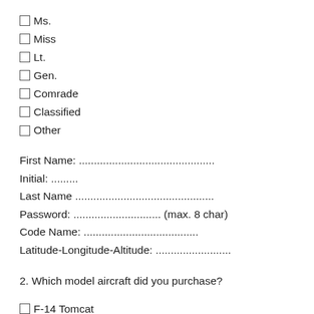[ ] Ms.
[ ] Miss
[ ] Lt.
[ ] Gen.
[ ] Comrade
[ ] Classified
[ ] Other
First Name: .............................................
Initial: .........
Last Name ..............................................
Password: ............................. (max. 8 char)
Code Name: ......................................
Latitude-Longitude-Altitude: .........................
2. Which model aircraft did you purchase?
[ ] F-14 Tomcat
[ ] F-15 Eagle